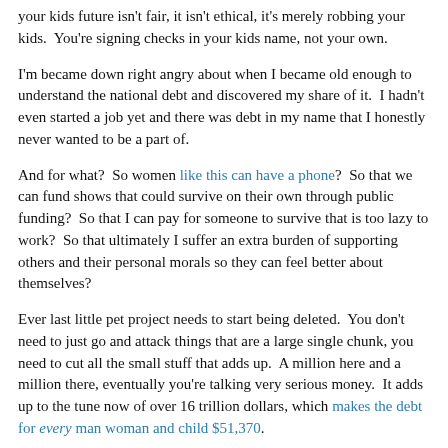your kids future isn't fair, it isn't ethical, it's merely robbing your kids.  You're signing checks in your kids name, not your own.
I'm became down right angry about when I became old enough to understand the national debt and discovered my share of it.  I hadn't even started a job yet and there was debt in my name that I honestly never wanted to be a part of.
And for what?  So women like this can have a phone?  So that we can fund shows that could survive on their own through public funding?  So that I can pay for someone to survive that is too lazy to work?  So that ultimately I suffer an extra burden of supporting others and their personal morals so they can feel better about themselves?
Ever last little pet project needs to start being deleted.  You don't need to just go and attack things that are a large single chunk, you need to cut all the small stuff that adds up.  A million here and a million there, eventually you're talking very serious money.  It adds up to the tune now of over 16 trillion dollars, which makes the debt for every man woman and child $51,370.